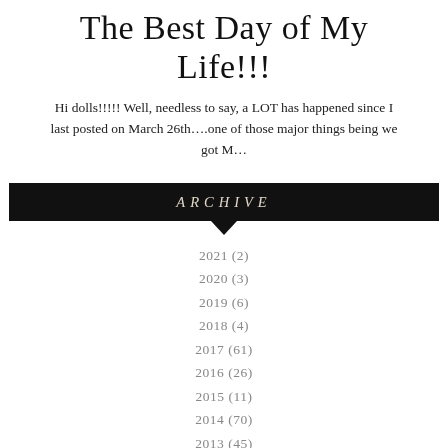The Best Day of My Life!!!
Hi dolls!!!!! Well, needless to say, a LOT has happened since I last posted on March 26th….one of those major things being we got M…
ARCHIVE
2021 (2)
2020 (3)
2019 (6)
2018 (4)
2017 (61)
2016 (26)
2015 (11)
2014 (70)
2013 (45)
2012 (83)
2011 (32)